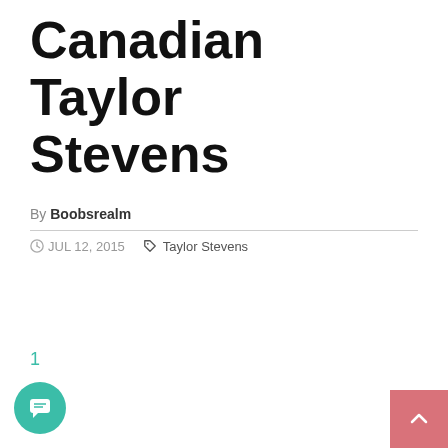Canadian Taylor Stevens
By Boobsrealm
JUL 12, 2015   Taylor Stevens
1